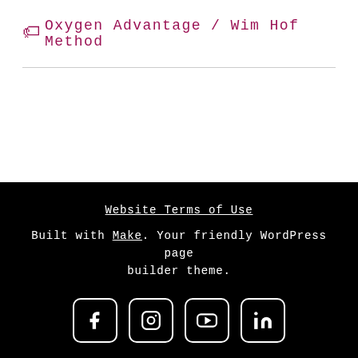🏷 Oxygen Advantage / Wim Hof Method
Website Terms of Use
Built with Make. Your friendly WordPress page builder theme.
[Figure (other): Social media icons: Facebook, Instagram, YouTube, LinkedIn, displayed as white icons in rounded square outlines on black background]